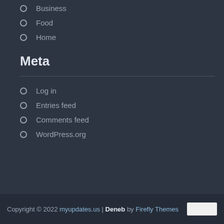Business
Food
Home
Meta
Log in
Entries feed
Comments feed
WordPress.org
Copyright © 2022 myupdates.us | Deneb by Firefly Themes